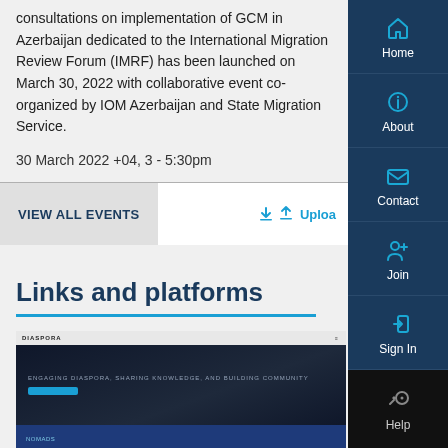consultations on implementation of GCM in Azerbaijan dedicated to the International Migration Review Forum (IMRF) has been launched on March 30, 2022 with collaborative event co-organized by IOM Azerbaijan and State Migration Service.
30 March 2022 +04, 3 - 5:30pm
VIEW ALL EVENTS
Upload
Links and platforms
[Figure (screenshot): Screenshot of a website showing 'ENGAGING DIASPORA, SHARING KNOWLEDGE, AND BUILDING COMMUNITY' text on dark background]
Home
About
Contact
Join
Sign In
Help